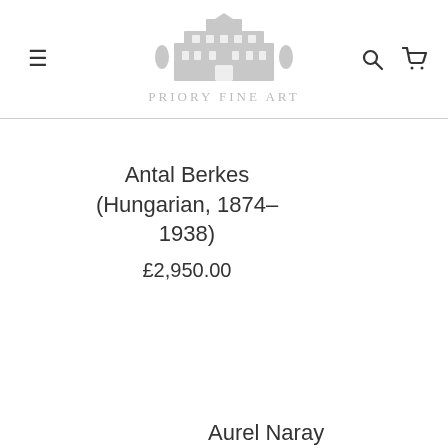[Figure (logo): Priory Fine Art logo with building illustration and text]
Antal Berkes (Hungarian, 1874–1938)
£2,950.00
Aurel Naray